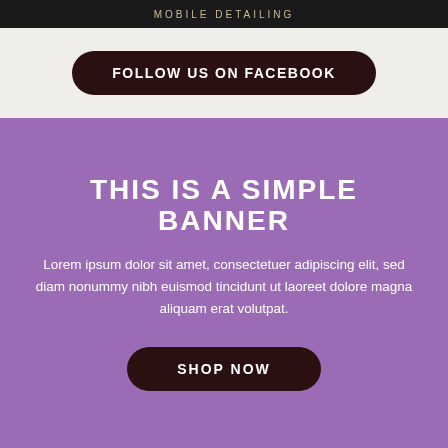MOBILE DETAILING
FOLLOW US ON FACEBOOK
THIS IS A SIMPLE BANNER
Lorem ipsum dolor sit amet, consectetuer adipiscing elit, sed diam nonummy nibh euismod tincidunt ut laoreet dolore magna aliquam erat volutpat.
SHOP NOW